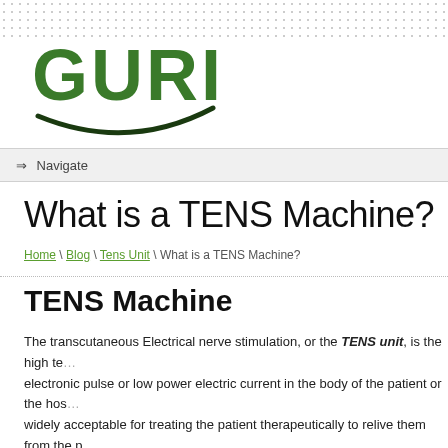[Figure (logo): GURIN logo with green bold text and a dark green swoosh arc beneath]
⇒ Navigate
What is a TENS Machine?
Home \ Blog \ Tens Unit \ What is a TENS Machine?
TENS Machine
The transcutaneous Electrical nerve stimulation, or the TENS unit, is the high te... electronic pulse or low power electric current in the body of the patient or the hos... widely acceptable for treating the patient therapeutically to relive them from the p... also referred to as the nerve simulator as it generally provides relief in the pain d...